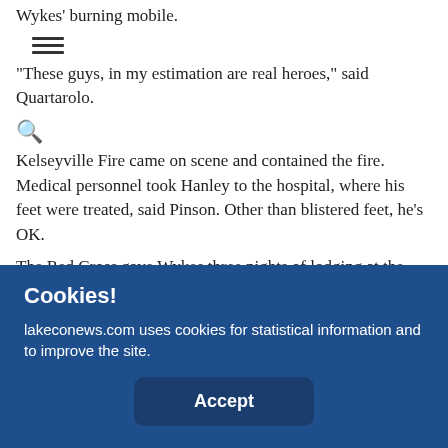Wykes' burning mobile.
“These guys, in my estimation are real heroes,” said Quartarolo.
Kelseyville Fire came on scene and contained the fire. Medical personnel took Hanley to the hospital, where his feet were treated, said Pinson. Other than blistered feet, he’s OK.
The Red Cross gave Wykes three nights of lodging at the Skylark Shores Resort in Lakeport, along with vouchers for food at...
Cookies!
lakeconews.com uses cookies for statistical information and to improve the site.
Accept